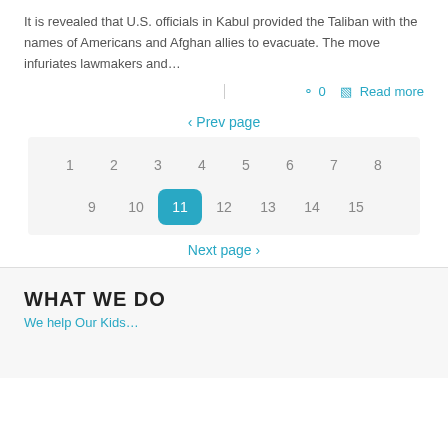It is revealed that U.S. officials in Kabul provided the Taliban with the names of Americans and Afghan allies to evacuate. The move infuriates lawmakers and...
○ 0  Read more
‹ Prev page
1 2 3 4 5 6 7 8 9 10 11 12 13 14 15
Next page ›
WHAT WE DO
We help Our Kids...